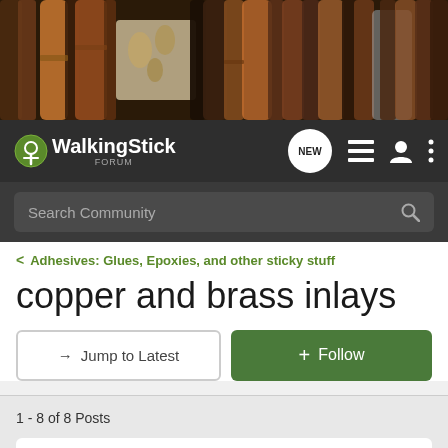[Figure (photo): Banner photo of wooden walking sticks and canes in various dark brown and amber tones]
WalkingStick Forum — navigation bar with logo, NEW bubble, list icon, user icon, more icon
Search Community
< Adhesives: Glues, Epoxies, and other sticky stuff
copper and brass inlays
→ Jump to Latest
+ Follow
1 - 8 of 8 Posts
valky307 · Registered 🇺🇸
Joined Nov 22, 2021 · 164 Posts